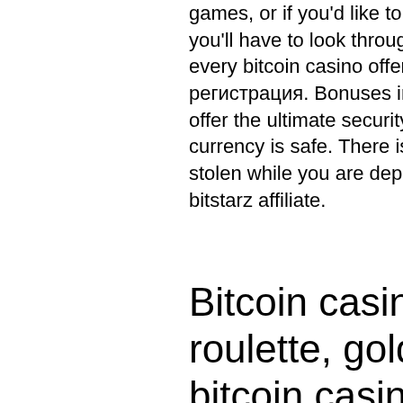games, or if you'd like to play table games with a live dealer, then you'll have to look through the game list upfront, because not every bitcoin casino offers this kind of games either, битстарз регистрация. Bonuses in bitcoin casinos. Bitcoin transactions offer the ultimate security, giving you peace of mind that your currency is safe. There is no danger of your card details being stolen while you are depositing, and that can only be a good thing, bitstarz affiliate.
Bitcoin casino queen bitcoin roulette, gold deluxe online bitcoin casino address
Bitcoin is clearly the most well-known and most popular virtual currency, bitstarz mobile app. So much so that some